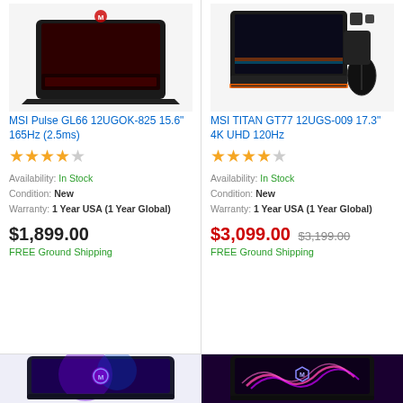[Figure (photo): MSI Pulse GL66 laptop product photo, black laptop with red keyboard]
[Figure (photo): MSI TITAN GT77 laptop product photo with accessories including mouse and bag]
MSI Pulse GL66 12UGOK-825 15.6" 165Hz (2.5ms)
★★★★☆ (4 stars)
Availability: In Stock
Condition: New
Warranty: 1 Year USA (1 Year Global)
$1,899.00
FREE Ground Shipping
MSI TITAN GT77 12UGS-009 17.3" 4K UHD 120Hz
★★★★☆ (4 stars)
Availability: In Stock
Condition: New
Warranty: 1 Year USA (1 Year Global)
$3,099.00 $3,199.00
FREE Ground Shipping
[Figure (photo): MSI laptop with blue/purple galaxy wallpaper showing MSI logo]
[Figure (photo): MSI gaming laptop with pink/purple wave wallpaper showing MSI shield logo]